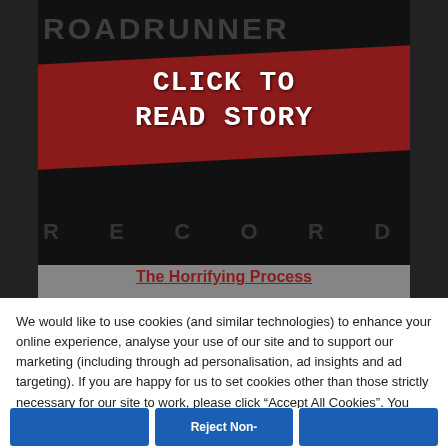[Figure (photo): Dark image with text 'CLICK TO READ STORY' on a red diagonal banner, with faint 'ROADRUNNER RECORDS' text in background]
The Horrifying Process
We would like to use cookies (and similar technologies) to enhance your online experience, analyse your use of our site and to support our marketing (including through ad personalisation, ad insights and ad targeting). If you are happy for us to set cookies other than those strictly necessary for our site to work, please click “Accept All Cookies”. You can also manage your cookie preferences across our site now or later by clicking “Cookies Settings”. For more information, please read our  Cookies Policy